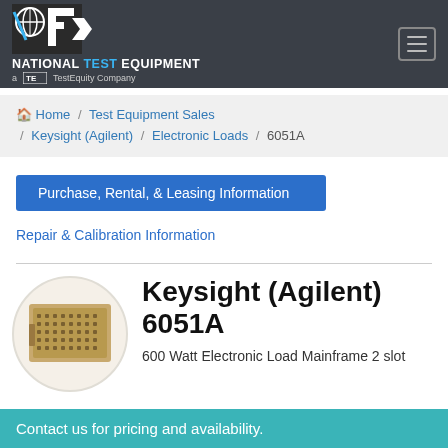[Figure (logo): National Test Equipment logo with TE mark, subtitle: a TE TestEquity Company]
Home / Test Equipment Sales / Keysight (Agilent) / Electronic Loads / 6051A
Purchase, Rental, & Leasing Information
Repair & Calibration Information
[Figure (photo): Photo of Keysight (Agilent) 6051A electronic load mainframe unit]
Keysight (Agilent) 6051A
600 Watt Electronic Load Mainframe 2 slot
Contact us for pricing and availability.